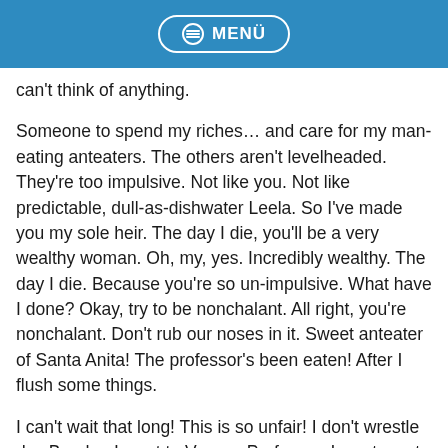MENÜ
can't think of anything.
Someone to spend my riches… and care for my man-eating anteaters. The others aren't levelheaded. They're too impulsive. Not like you. Not like predictable, dull-as-dishwater Leela. So I've made you my sole heir. The day I die, you'll be a very wealthy woman. Oh, my, yes. Incredibly wealthy. The day I die. Because you're so un-impulsive. What have I done? Okay, try to be nonchalant. All right, you're nonchalant. Don't rub our noses in it. Sweet anteater of Santa Anita! The professor's been eaten! After I flush some things.
I can't wait that long! This is so unfair! I don't wrestle dry, Bender. I went to Vassar. Professor, I want you to look these poor floozies in the eye and tell them they're oil-wrestling days are over. Oh. I suppose there could be a minute quantity of petroleum left, but it